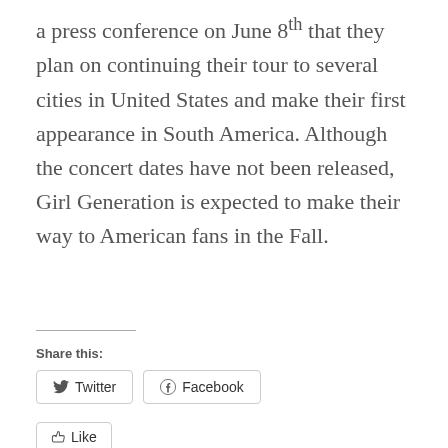a press conference on June 8th that they plan on continuing their tour to several cities in United States and make their first appearance in South America. Although the concert dates have not been released, Girl Generation is expected to make their way to American fans in the Fall.
Share this:
Twitter
Facebook